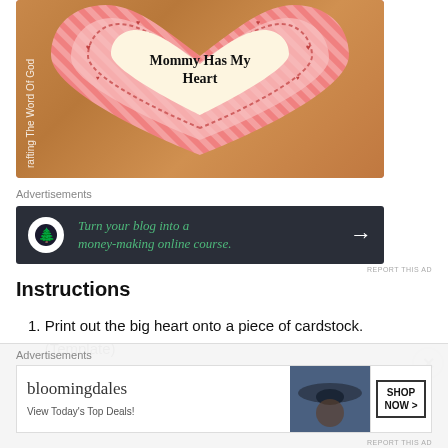[Figure (photo): A heart-shaped craft card on a wooden table. The card has a large pink striped heart background with a smaller decorative heart border, and a cream-colored center heart with the text 'Mommy Has My Heart'. A vertical watermark on the left reads 'Crafting The Word Of God'.]
Advertisements
[Figure (other): Dark advertisement banner: 'Turn your blog into a money-making online course.' with a tree icon and right arrow.]
REPORT THIS AD
Instructions
1. Print out the big heart onto a piece of cardstock. (Template)
Advertisements
[Figure (other): Bloomingdale's advertisement banner showing a woman in a wide-brim hat and the text 'View Today's Top Deals!' with a 'SHOP NOW >' button.]
REPORT THIS AD